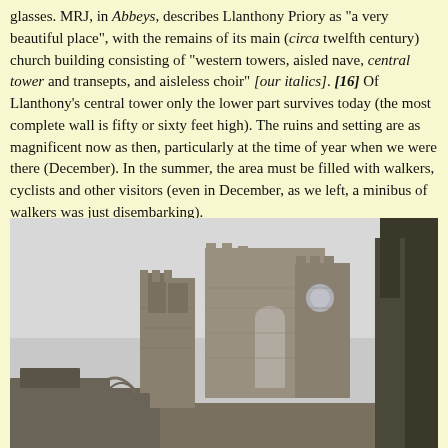glasses. MRJ, in Abbeys, describes Llanthony Priory as "a very beautiful place", with the remains of its main (circa twelfth century) church building consisting of "western towers, aisled nave, central tower and transepts, and aisleless choir" [our italics]. [16] Of Llanthony's central tower only the lower part survives today (the most complete wall is fifty or sixty feet high). The ruins and setting are as magnificent now as then, particularly at the time of year when we were there (December). In the summer, the area must be filled with walkers, cyclists and other visitors (even in December, as we left, a minibus of walkers was just disembarking).
[Figure (photo): Black and white photograph of Llanthony Priory ruins showing stone walls, arched windows, and partially collapsed church towers against an overcast sky, with trees visible on the right side.]